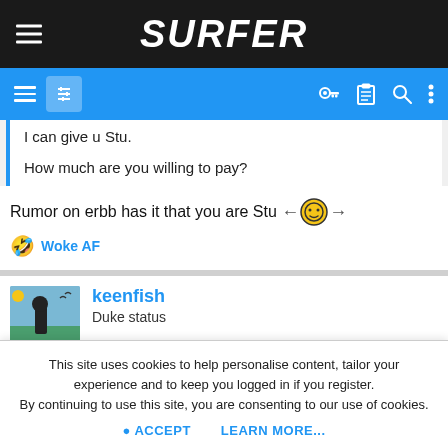SURFER
I can give u Stu.

How much are you willing to pay?
Rumor on erbb has it that you are Stu
Woke AF
keenfish
Duke status
This site uses cookies to help personalise content, tailor your experience and to keep you logged in if you register.
By continuing to use this site, you are consenting to our use of cookies.
ACCEPT   LEARN MORE...